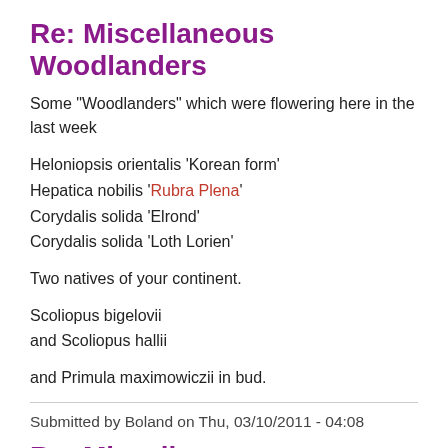Re: Miscellaneous Woodlanders
Some "Woodlanders" which were flowering here in the last week
Heloniopsis orientalis 'Korean form'
Hepatica nobilis 'Rubra Plena'
Corydalis solida 'Elrond'
Corydalis solida 'Loth Lorien'
Two natives of your continent.
Scoliopus bigelovii
and Scoliopus hallii
and Primula maximowiczii in bud.
Submitted by Boland on Thu, 03/10/2011 - 04:08
Re: Miscellaneous Woodlanders